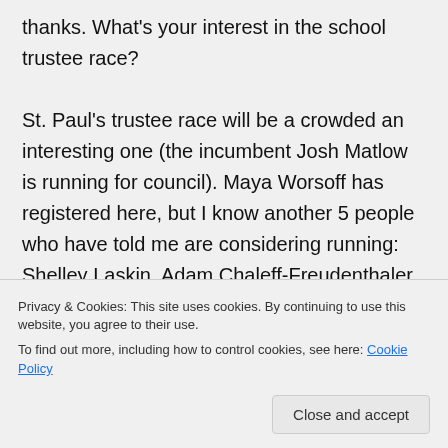thanks. What's your interest in the school trustee race? St. Paul's trustee race will be a crowded an interesting one (the incumbent Josh Matlow is running for council). Maya Worsoff has registered here, but I know another 5 people who have told me are considering running: Shelley Laskin, Adam Chaleff-Freudenthaler, Jim Walker, Heather Johnston and Phil Egginton.
Privacy & Cookies: This site uses cookies. By continuing to use this website, you agree to their use. To find out more, including how to control cookies, see here: Cookie Policy